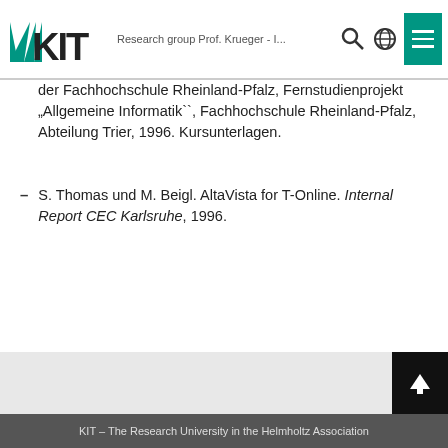Research group Prof. Krueger - I...
der Fachhochschule Rheinland-Pfalz, Fernstudienprojekt „Allgemeine Informatik``, Fachhochschule Rheinland-Pfalz, Abteilung Trier, 1996. Kursunterlagen.
S. Thomas und M. Beigl. AltaVista for T-Online. Internal Report CEC Karlsruhe, 1996.
KIT – The Research University in the Helmholtz Association